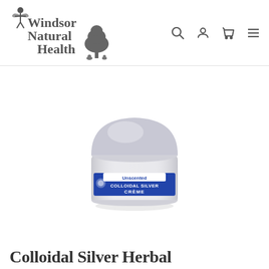Windsor Natural Health
[Figure (photo): A small round jar of Unscented Colloidal Silver Crème with a white/silver lid and a blue label]
Colloidal Silver Herbal